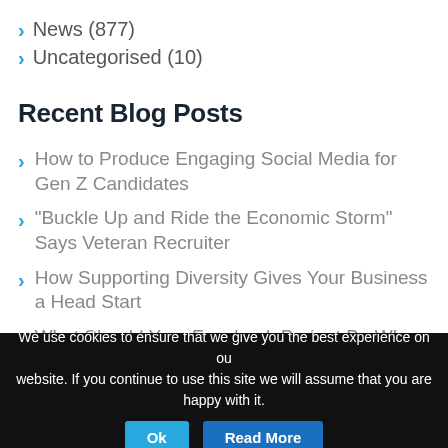News (877)
Uncategorised (10)
Recent Blog Posts
How to Produce Engaging Social Media for Gen Z Candidates
“Buckle Up and Ride the Economic Storm” Says Veteran Recruiter
How Supporting Diversity Gives Your Business a Head Start
What Should Your Facebook Budget Be When Targeting Your Next Candidate?
Why We Need to Change the W...
We use cookies to ensure that we give you the best experience on our website. If you continue to use this site we will assume that you are happy with it.